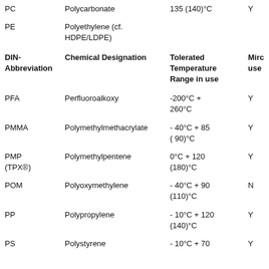| DIN-Abbreviation | Chemical Designation | Tolerated Temperature Range in use | Mirc use |
| --- | --- | --- | --- |
| PC | Polycarbonate | 135 (140)°C | Y |
| PE | Polyethylene (cf. HDPE/LDPE) |  |  |
| DIN-Abbreviation | Chemical Designation | Tolerated Temperature Range in use | Mirc use |
| PFA | Perfluoroalkoxy | -200°C + 260°C | Y |
| PMMA | Polymethylmethacrylate | - 40°C + 85 ( 90)°C | Y |
| PMP (TPX®) | Polymethylpentene | 0°C + 120 (180)°C | Y |
| POM | Polyoxymethylene | - 40°C + 90 (110)°C | N |
| PP | Polypropylene | - 10°C + 120 (140)°C | Y |
| PS | Polystyrene | - 10°C + 70 | Y |